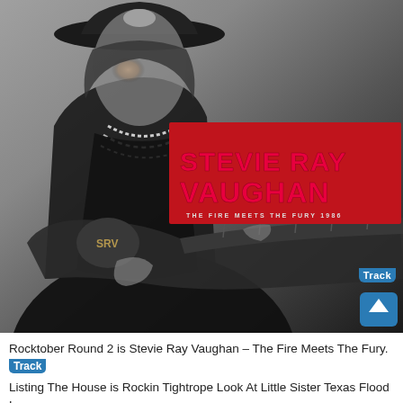[Figure (photo): Black and white album cover photo of Stevie Ray Vaughan playing electric guitar, wearing a wide-brimmed hat and beaded necklace. A red banner overlay on the right reads 'STEVIE RAY VAUGHAN' in large red letters and 'THE FIRE MEETS THE FURY 1986' in smaller text. A blue scroll-to-top arrow button appears in the bottom right corner.]
Rocktober Round 2 is Stevie Ray Vaughan – The Fire Meets The Fury. Track Listing The House is Rockin Tightrope Look At Little Sister Texas Flood Love...